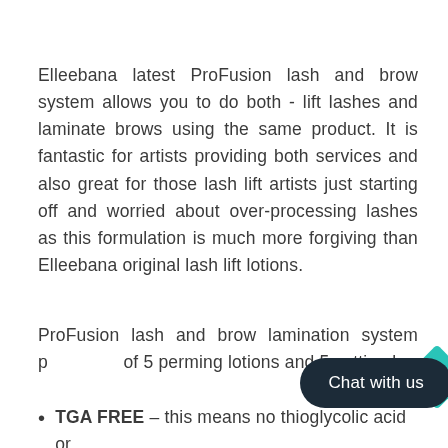Elleebana latest ProFusion lash and brow system allows you to do both - lift lashes and laminate brows using the same product. It is fantastic for artists providing both services and also great for those lash lift artists just starting off and worried about over-processing lashes as this formulation is much more forgiving than Elleebana original lash lift lotions.
ProFusion lash and brow lamination system p... of 5 perming lotions and 5 setting lo...
TGA FREE – this means no thioglycolic acid or